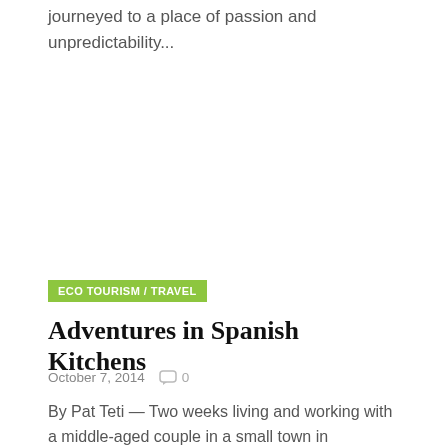journeyed to a place of passion and unpredictability...
ECO TOURISM / TRAVEL
Adventures in Spanish Kitchens
October 7, 2014   0
By Pat Teti — Two weeks living and working with a middle-aged couple in a small town in northeastern Spain...